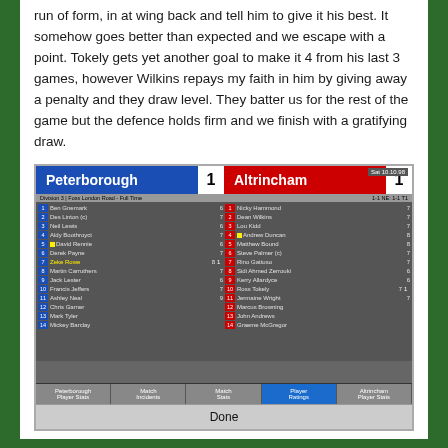run of form, in at wing back and tell him to give it his best. It somehow goes better than expected and we escape with a point. Tokely gets yet another goal to make it 4 from his last 3 games, however Wilkins repays my faith in him by giving away a penalty and they draw level. They batter us for the rest of the game but the defence holds firm and we finish with a gratifying draw.
[Figure (screenshot): Football Manager game screenshot showing match result: Peterborough 1 - Altrincham 1. Shows player ratings for both teams with player names and numbers. Bottom tabs show Peterborough Player Stats, Match Incidents, Match Stats, Player Ratings (active), Altrincham Player Stats. Done button at bottom.]